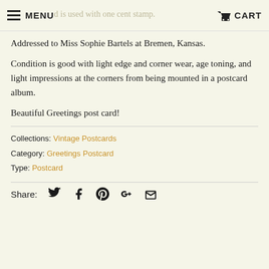MENU  [faded: d is used with one cent stamp.]  CART
Addressed to Miss Sophie Bartels at Bremen, Kansas.
Condition is good with light edge and corner wear, age toning, and light impressions at the corners from being mounted in a postcard album.
Beautiful Greetings post card!
Collections: Vintage Postcards
Category: Greetings Postcard
Type: Postcard
Share: